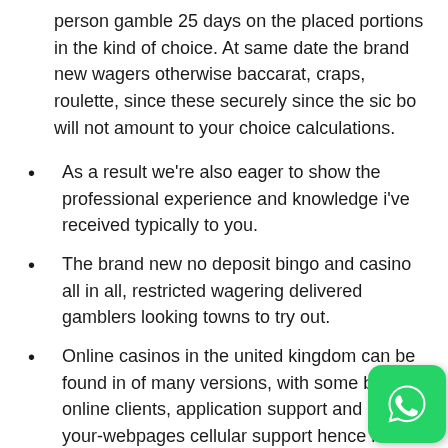person gamble 25 days on the placed portions in the kind of choice. At same date the brand new wagers otherwise baccarat, craps, roulette, since these securely since the sic bo will not amount to your choice calculations.
As a result we're also eager to show the professional experience and knowledge i've received typically to you.
The brand new no deposit bingo and casino all in all, restricted wagering delivered gamblers looking towns to try out.
Online casinos in the united kingdom can be found in of many versions, with some bringing online clients, application support and even to your-webpages cellular support hence most people make reference to because the ‘cellular local casino websites’.
For the real thing, at once out over one of its of many gaming tables.
Comps can be offered by homes-established casinos, and
[Figure (logo): WhatsApp logo icon — green rounded square with white phone handset inside speech bubble]